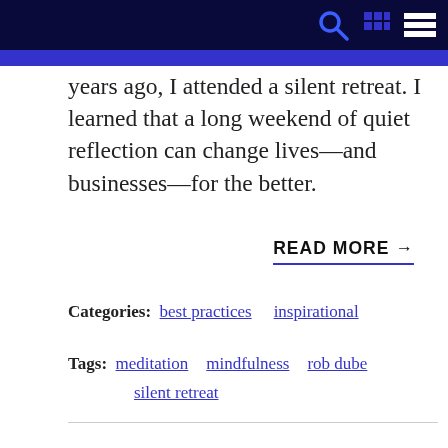years ago, I attended a silent retreat. I learned that a long weekend of quiet reflection can change lives—and businesses—for the better.
READ MORE →
Categories:  best practices   inspirational
Tags:  meditation   mindfulness   rob dube   silent retreat